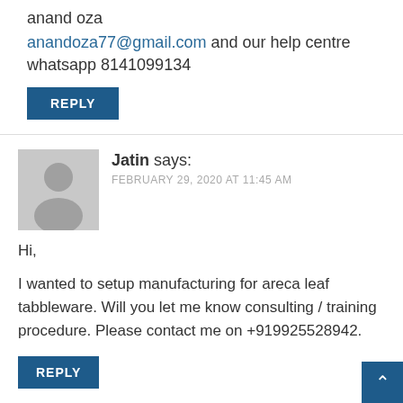anand oza
anandoza77@gmail.com and our help centre whatsapp 8141099134
REPLY
Jatin says:
FEBRUARY 29, 2020 AT 11:45 AM
Hi,
I wanted to setup manufacturing for areca leaf tabbleware. Will you let me know consulting / training procedure. Please contact me on +919925528942.
REPLY